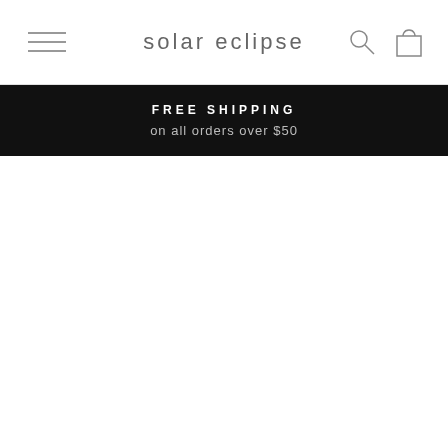solar eclipse
FREE SHIPPING
on all orders over $50